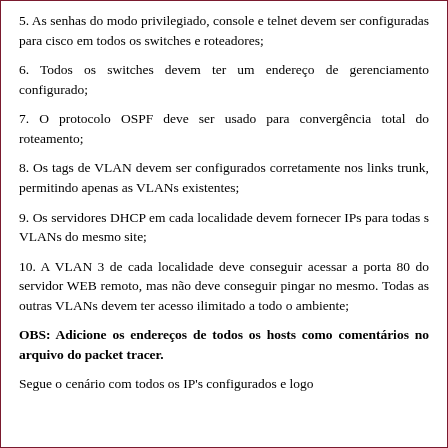5. As senhas do modo privilegiado, console e telnet devem ser configuradas para cisco em todos os switches e roteadores;
6. Todos os switches devem ter um endereço de gerenciamento configurado;
7. O protocolo OSPF deve ser usado para convergência total do roteamento;
8. Os tags de VLAN devem ser configurados corretamente nos links trunk, permitindo apenas as VLANs existentes;
9. Os servidores DHCP em cada localidade devem fornecer IPs para todas s VLANs do mesmo site;
10. A VLAN 3 de cada localidade deve conseguir acessar a porta 80 do servidor WEB remoto, mas não deve conseguir pingar no mesmo. Todas as outras VLANs devem ter acesso ilimitado a todo o ambiente;
OBS: Adicione os endereços de todos os hosts como comentários no arquivo do packet tracer.
Segue o cenário com todos os IP's configurados e logo